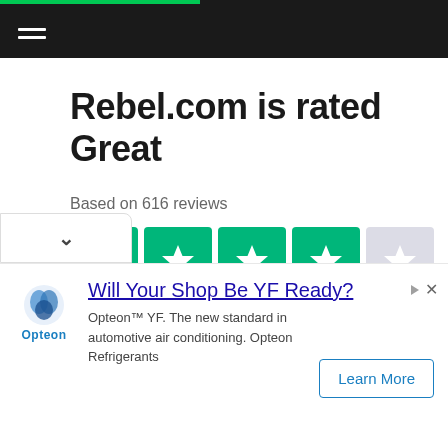Rebel.com is rated Great
Based on 616 reviews
[Figure (other): Four green star rating boxes and one gray star box, showing a rating of 4 out of 5 stars (Trustpilot style)]
[Figure (logo): Trustpilot logo with green star and Trustpilot text]
[Figure (other): Advertisement: Opteon logo, headline 'Will Your Shop Be YF Ready?', description text 'Opteon TM YF. The new standard in automotive air conditioning. Opteon Refrigerants', Learn More button]